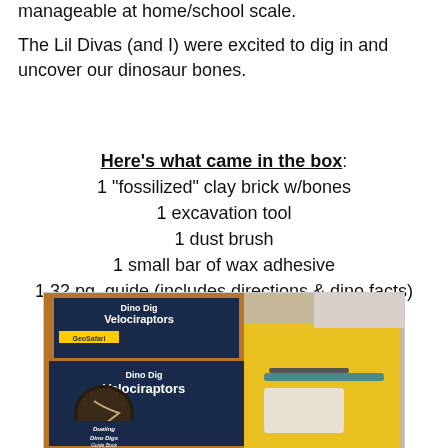manageable at home/school scale.
The Lil Divas (and I) were excited to dig in and uncover our dinosaur bones.
Here's what came in the box:
1 "fossilized" clay brick w/bones
1 excavation tool
1 dust brush
1 small bar of wax adhesive
1 32 pg. guide (includes directions & dino facts)
1 gold sticker
1 black showcase platform
[Figure (photo): Photo of Dino Dig Velociraptors kit box and contents including a yellow tray with tools and a guide book]